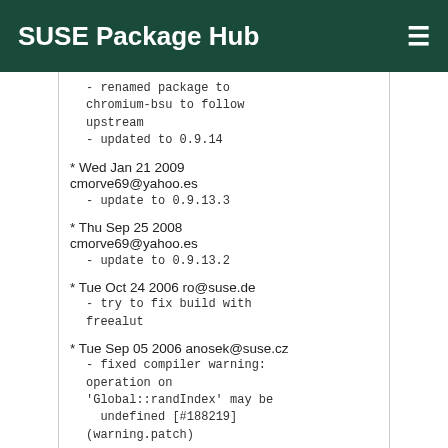SUSE Package Hub
- renamed package to chromium-bsu to follow upstream
    - updated to 0.9.14
* Wed Jan 21 2009 cmorve69@yahoo.es
    - update to 0.9.13.3
* Thu Sep 25 2008 cmorve69@yahoo.es
    - update to 0.9.13.2
* Tue Oct 24 2006 ro@suse.de
    - try to fix build with freealut
* Tue Sep 05 2006 anosek@suse.cz
    - fixed compiler warning: operation on 'Global::randIndex' may be undefined [#188219] (warning.patch)
* Mon Jan 30 2006 ro@suse.de
    - added Mesa-devel to BuildRequires
* Wed Jan 25 2006 mls@suse.de
    - converted neededforbuild to BuildRequires